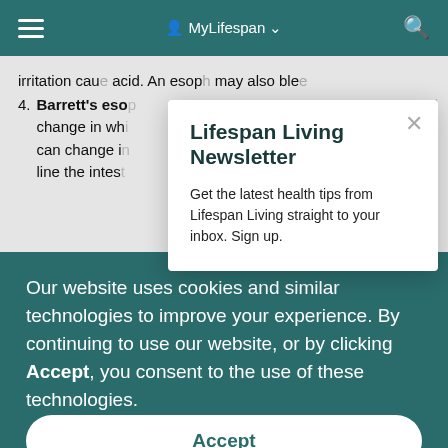MyLifespan
irritation caus acid. An esop may also ble
4. Barrett's eso change in wh can change i line the intes
[Figure (screenshot): Newsletter modal popup with title 'Lifespan Living Newsletter' and text 'Get the latest health tips from Lifespan Living straight to your inbox. Sign up.']
Our website uses cookies and similar technologies to improve your experience. By continuing to use our website, or by clicking Accept, you consent to the use of these technologies.
Accept